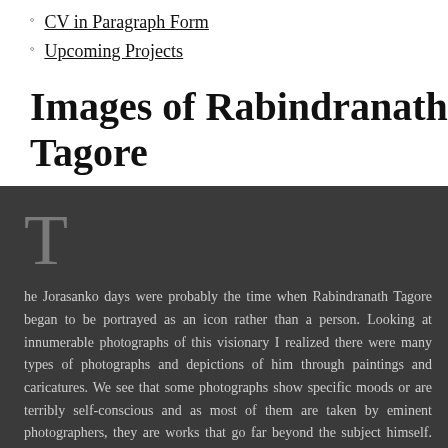CV in Paragraph Form
Upcoming Projects
Images of Rabindranath Tagore
The Jorasanko days were probably the time when Rabindranath Tagore began to be portrayed as an icon rather than a person. Looking at innumerable photographs of this visionary I realized there were many types of photographs and depictions of him through paintings and caricatures. We see that some photographs show specific moods or are terribly self-conscious and as most of them are taken by eminent photographers, they are works that go far beyond the subject himself. All of these however are true portrayals of different aspects of his